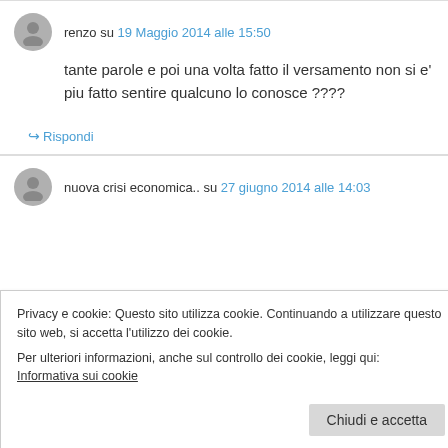renzo su 19 Maggio 2014 alle 15:50
tante parole e poi una volta fatto il versamento non si e' piu fatto sentire qualcuno lo conosce ????
↪ Rispondi
nuova crisi economica.. su 27 giugno 2014 alle 14:03
Privacy e cookie: Questo sito utilizza cookie. Continuando a utilizzare questo sito web, si accetta l'utilizzo dei cookie. Per ulteriori informazioni, anche sul controllo dei cookie, leggi qui: Informativa sui cookie
Chiudi e accetta
nuova crisi economica...